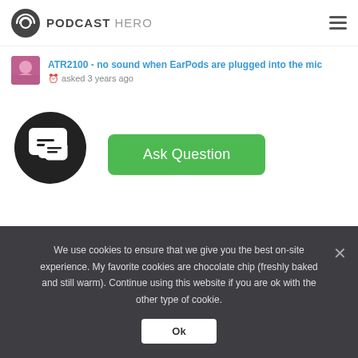PODCAST HERO
ATR2100 - no sound when EarPods are plugged into the mic
asked 3 years ago
[Figure (illustration): Black circular speech bubble / message icon]
[Figure (illustration): Green 'Ask Question' button]
[Figure (logo): Podcast Hero large logo with dark circle wifi icon and bold text PODCAST HERO]
We use cookies to ensure that we give you the best on-site experience. My favorite cookies are chocolate chip (freshly baked and still warm). Continue using this website if you are ok with the other type of cookie.
Ok